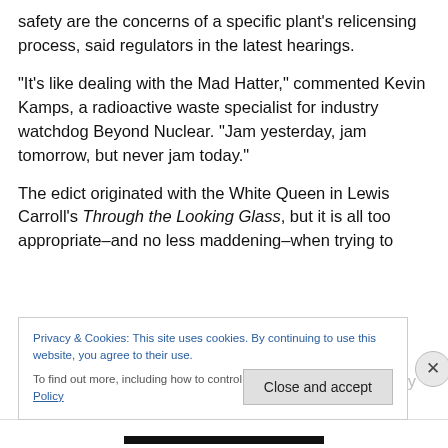safety are the concerns of a specific plant's relicensing process, said regulators in the latest hearings.
“It’s like dealing with the Mad Hatter,” commented Kevin Kamps, a radioactive waste specialist for industry watchdog Beyond Nuclear. “Jam yesterday, jam tomorrow, but never jam today.”
The edict originated with the White Queen in Lewis Carroll’s Through the Looking Glass, but it is all too appropriate–and no less maddening–when trying to motivate meaningful change at the Nuclear Regulatory
Privacy & Cookies: This site uses cookies. By continuing to use this website, you agree to their use.
To find out more, including how to control cookies, see here: Cookie Policy
Close and accept